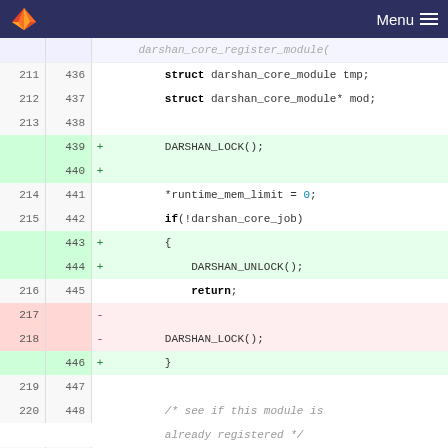GitLab header with logo and Menu
[Figure (screenshot): Code diff view showing darshan_core_register_module function with added and removed lines, line numbers on both sides]
darshan_core_register_module(
211 436   struct darshan_core_module tmp;
212 437   struct darshan_core_module* mod;
213 438
    439 + DARSHAN_LOCK();
    440 +
214 441   *runtime_mem_limit = 0;
215 442   if(!darshan_core_job)
    443 + {
    444 +     DARSHAN_UNLOCK();
216 445       return;
217   -
218   -     DARSHAN_LOCK();
    446 + }
219 447
220 448   /* see if this module is already registered */
221 449   strncpy(tmp.name, name, DARSHAN_MOD_NAME_LEN);
222   -   DARSHAN_MOD_SEARCH(mod, &tmp);
    450 + DARSHAN_MOD_SEARCH(mod, &tmp,